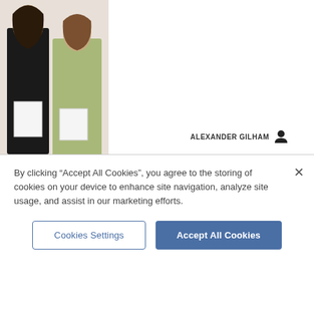[Figure (photo): Two female students holding papers, partial view at top of page]
ALEXANDER GILHAM
[Figure (photo): Group of male students in school hall holding their GCSE result papers]
Abbey College 'proud' of students' GCSE results
ALEXANDER GILHAM
[Figure (photo): Partial gallery image strip]
GALLERY
By clicking "Accept All Cookies", you agree to the storing of cookies on your device to enhance site navigation, analyze site usage, and assist in our marketing efforts.